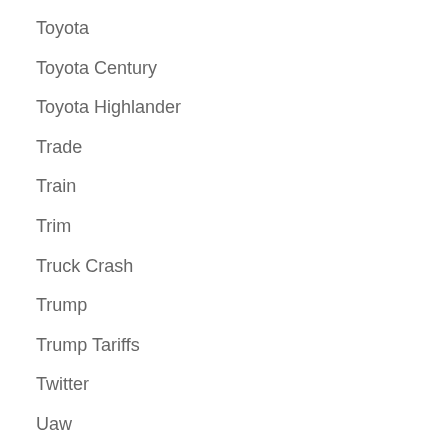Toyota
Toyota Century
Toyota Highlander
Trade
Train
Trim
Truck Crash
Trump
Trump Tariffs
Twitter
Uaw
Uber